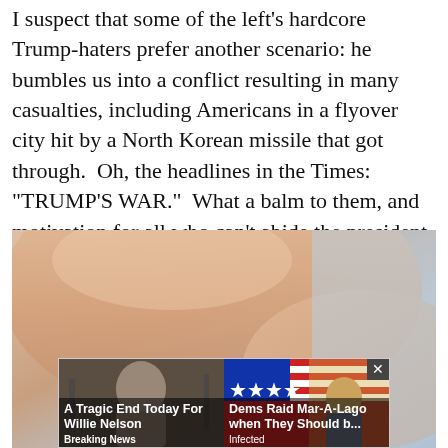I suspect that some of the left's hardcore Trump-haters prefer another scenario: he bumbles us into a conflict resulting in many casualties, including Americans in a flyover city hit by a North Korean missile that got through.  Oh, the headlines in the Times: "TRUMP'S WAR."  What a balm to them, and motivation for all who can't abide the president beginning constructing narratives on the risks of having such a man and the party supporting him holding our security in their hands.
[Figure (photo): Close-up photo of human fingers/hand against a light background, with two advertisement overlays at the bottom. Left ad: 'A Tragic End Today For Willie Nelson / Breaking News'. Right ad: 'Dems Raid Mar-A-Lago when They Should b... / Infected' with a close button (x).]